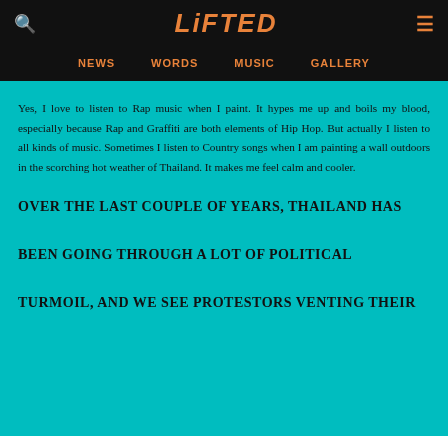LiFTED
NEWS   WORDS   MUSIC   GALLERY
Yes, I love to listen to Rap music when I paint. It hypes me up and boils my blood, especially because Rap and Graffiti are both elements of Hip Hop. But actually I listen to all kinds of music. Sometimes I listen to Country songs when I am painting a wall outdoors in the scorching hot weather of Thailand. It makes me feel calm and cooler.
OVER THE LAST COUPLE OF YEARS, THAILAND HAS BEEN GOING THROUGH A LOT OF POLITICAL TURMOIL, AND WE SEE PROTESTORS VENTING THEIR